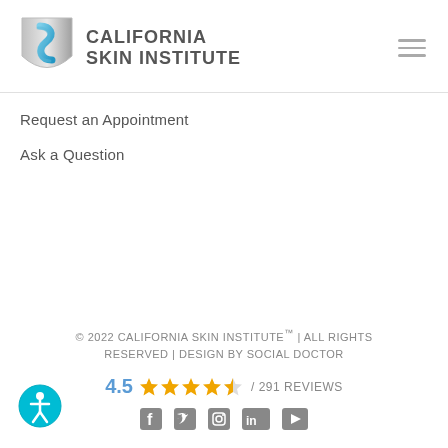[Figure (logo): California Skin Institute logo with stylized blue S-shaped figure on shield and text CALIFORNIA SKIN INSTITUTE]
Request an Appointment
Ask a Question
© 2022 CALIFORNIA SKIN INSTITUTE™ | ALL RIGHTS RESERVED | DESIGN BY SOCIAL DOCTOR
4.5 ★★★★½ / 291 REVIEWS
[Figure (infographic): Social media icons: Facebook, Twitter, Instagram, LinkedIn, YouTube]
[Figure (infographic): Accessibility icon - person in circle with cyan background]